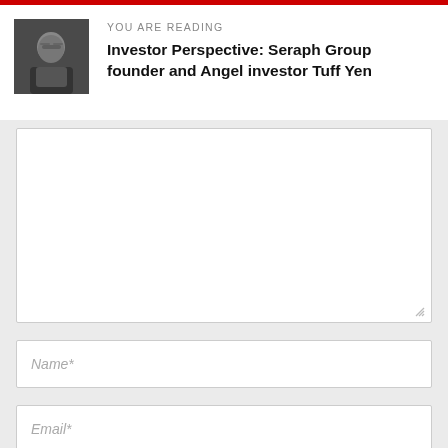YOU ARE READING
Investor Perspective: Seraph Group founder and Angel investor Tuff Yen
[Figure (photo): Small portrait photo of a man wearing glasses and a dark shirt]
Name*
Email*